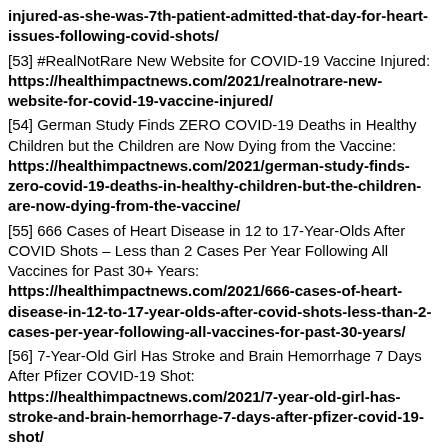injured-as-she-was-7th-patient-admitted-that-day-for-heart-issues-following-covid-shots/
[53] #RealNotRare New Website for COVID-19 Vaccine Injured: https://healthimpactnews.com/2021/realnotrare-new-website-for-covid-19-vaccine-injured/
[54] German Study Finds ZERO COVID-19 Deaths in Healthy Children but the Children are Now Dying from the Vaccine: https://healthimpactnews.com/2021/german-study-finds-zero-covid-19-deaths-in-healthy-children-but-the-children-are-now-dying-from-the-vaccine/
[55] 666 Cases of Heart Disease in 12 to 17-Year-Olds After COVID Shots – Less than 2 Cases Per Year Following All Vaccines for Past 30+ Years: https://healthimpactnews.com/2021/666-cases-of-heart-disease-in-12-to-17-year-olds-after-covid-shots-less-than-2-cases-per-year-following-all-vaccines-for-past-30-years/
[56] 7-Year-Old Girl Has Stroke and Brain Hemorrhage 7 Days After Pfizer COVID-19 Shot: https://healthimpactnews.com/2021/7-year-old-girl-has-stroke-and-brain-hemorrhage-7-days-after-pfizer-covid-19-shot/
[57] Vaccine Cult Exposed by Government's Own Data: More than 50% of ALL Vaccine Adverse Reactions Reported for Past 30+ Years Have Occurred in Past 11 Months Following COVID-19 Shots: https://healthimpactnews.com/2021/vaccine-cult-exposed-by-governments-own-data-more-than-50-of-all-vaccine-adverse-reactions-reported-for-past-30-years-have-occurred-in-past-11-months-following-covid-19-shots/
[58] A List Of People Who Had Their Leg Amputated Shortly After Receiving a COVID-19 Shot: